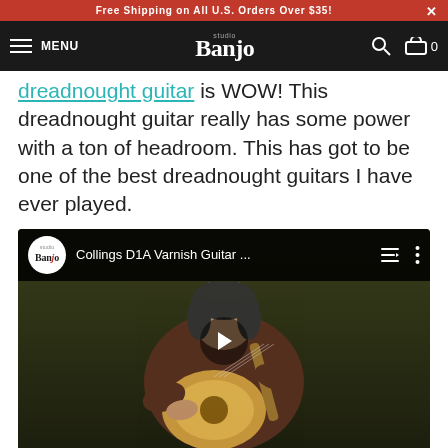Free Shipping on All U.S. Orders Over $35!
MENU  studio Banjo  0
dreadnought guitar is WOW!  This dreadnought guitar really has some power with a ton of headroom. This has got to be one of the best dreadnought guitars I have ever played.
[Figure (screenshot): YouTube-style embedded video player showing a man playing a Collings D1A Varnish Guitar, with Studio Banjo logo, video title 'Collings D1A Varnish Guitar ...' and a play button overlay.]
The Collings D1A Varnish guitar features an